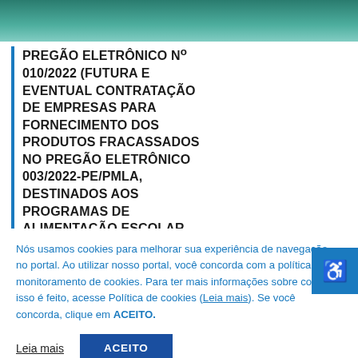[Figure (other): Teal/green gradient header banner image]
PREGÃO ELETRÔNICO Nº 010/2022 (FUTURA E EVENTUAL CONTRATAÇÃO DE EMPRESAS PARA FORNECIMENTO DOS PRODUTOS FRACASSADOS NO PREGÃO ELETRÔNICO 003/2022-PE/PMLA, DESTINADOS AOS PROGRAMAS DE ALIMENTAÇÃO ESCOLAR
Nós usamos cookies para melhorar sua experiência de navegação no portal. Ao utilizar nosso portal, você concorda com a política de monitoramento de cookies. Para ter mais informações sobre como isso é feito, acesse Política de cookies (Leia mais). Se você concorda, clique em ACEITO.
Leia mais
ACEITO